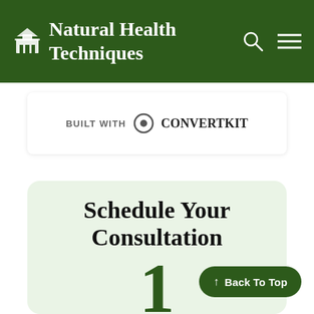Natural Health Techniques
[Figure (logo): Natural Health Techniques logo with building icon and search/menu icons on the right]
[Figure (screenshot): BUILT WITH ConvertKit badge with ConvertKit circular logo]
Schedule Your Consultation
1
↑ Back To Top